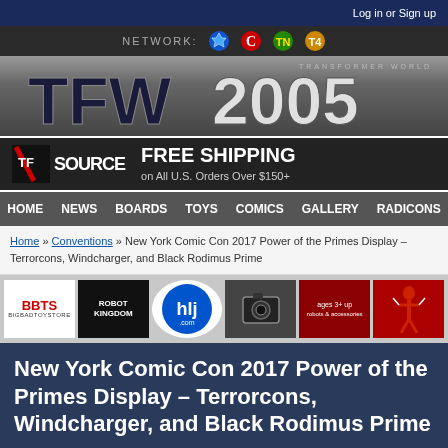Log in or Sign up
NETWORK:
[Figure (logo): TFW2005 Transformer World logo]
[Figure (logo): TFSource Free Shipping on All U.S. Orders Over $150+ advertisement banner]
HOME  NEWS  BOARDS  TOYS  COMICS  GALLERY  RADICONS
Home » Conventions » New York Comic Con 2017 Power of the Primes Display – Terrorcons, Windcharger, and Black Rodimus Prime
[Figure (logo): Sponsor logos: BBTS Big Bad Toy Store, Robot Kingdom, HLJ.com, Camera/photo store, Ages 3+ robots and accessories, Red ninja illustration]
New York Comic Con 2017 Power of the Primes Display – Terrorcons, Windcharger, and Black Rodimus Prime
Posted on October 5, 2017 at 4:02 pm by Sol Fury under Conventions, Generations / Classics